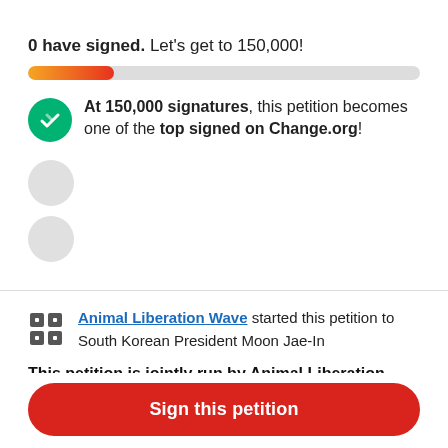0 have signed. Let's get to 150,000!
[Figure (infographic): Progress bar showing orange-to-red gradient fill at approximately 22% with gray unfilled remainder]
At 150,000 signatures, this petition becomes one of the top signed on Change.org!
Animal Liberation Wave started this petition to South Korean President Moon Jae-In
This petition is jointly run by Animal Liberation
Sign this petition